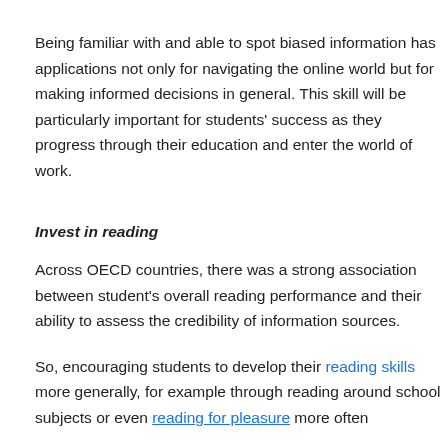Being familiar with and able to spot biased information has applications not only for navigating the online world but for making informed decisions in general. This skill will be particularly important for students' success as they progress through their education and enter the world of work.
Invest in reading
Across OECD countries, there was a strong association between student's overall reading performance and their ability to assess the credibility of information sources.
So, encouraging students to develop their reading skills more generally, for example through reading around school subjects or even reading for pleasure more often